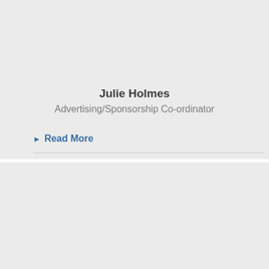Julie Holmes
Advertising/Sponsorship Co-ordinator
Read More